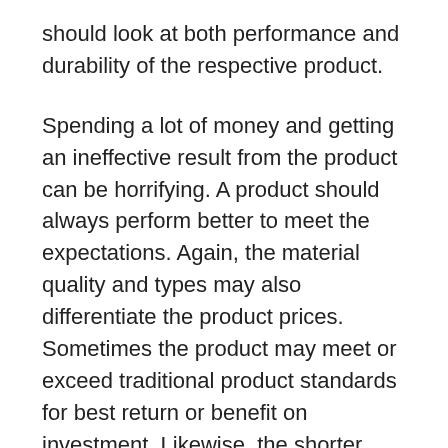should look at both performance and durability of the respective product.
Spending a lot of money and getting an ineffective result from the product can be horrifying. A product should always perform better to meet the expectations. Again, the material quality and types may also differentiate the product prices. Sometimes the product may meet or exceed traditional product standards for best return or benefit on investment. Likewise, the shorter lifespan than expectation also can be a loss of investment.
Irrespective of user reviews, you can find many ways to know your desired concrete trowel's